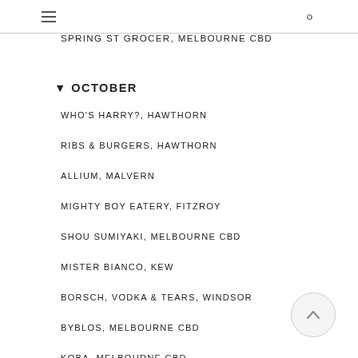SPRING ST GROCER, MELBOURNE CBD
▼ OCTOBER
WHO'S HARRY?, HAWTHORN
RIBS & BURGERS, HAWTHORN
ALLIUM, MALVERN
MIGHTY BOY EATERY, FITZROY
SHOU SUMIYAKI, MELBOURNE CBD
MISTER BIANCO, KEW
BORSCH, VODKA & TEARS, WINDSOR
BYBLOS, MELBOURNE CBD
KOBA, MELBOURNE CBD